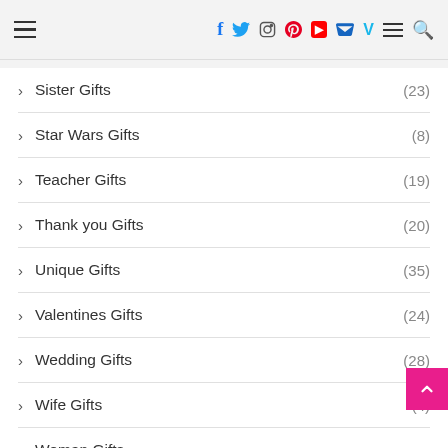Navigation bar with hamburger menu, social icons (Facebook, Twitter, Instagram, Pinterest, YouTube, Mail, Vimeo), menu, and search
Sister Gifts (23)
Star Wars Gifts (8)
Teacher Gifts (19)
Thank you Gifts (20)
Unique Gifts (35)
Valentines Gifts (24)
Wedding Gifts (28)
Wife Gifts (4)
Woman Gifts